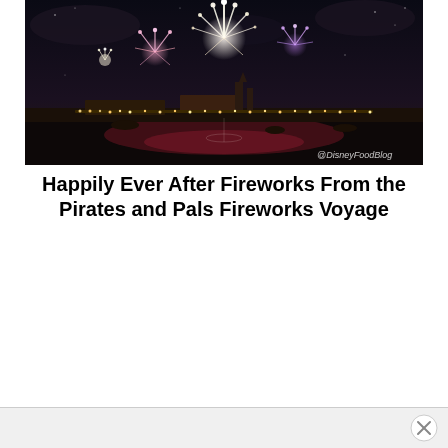[Figure (photo): Night sky fireworks display over a waterfront with illuminated buildings and the Magic Kingdom castle visible in the background. Fireworks burst in white, pink, and purple against a dark sky. Watermark reads '@DisneyFoodBlog' in the lower right corner.]
Happily Ever After Fireworks From the Pirates and Pals Fireworks Voyage